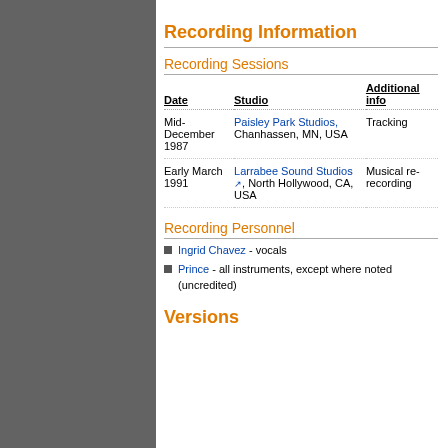Recording Information
Recording Sessions
| Date | Studio | Additional info |
| --- | --- | --- |
| Mid-December 1987 | Paisley Park Studios, Chanhassen, MN, USA | Tracking |
| Early March 1991 | Larrabee Sound Studios, North Hollywood, CA, USA | Musical re-recording |
Recording Personnel
Ingrid Chavez - vocals
Prince - all instruments, except where noted (uncredited)
Versions